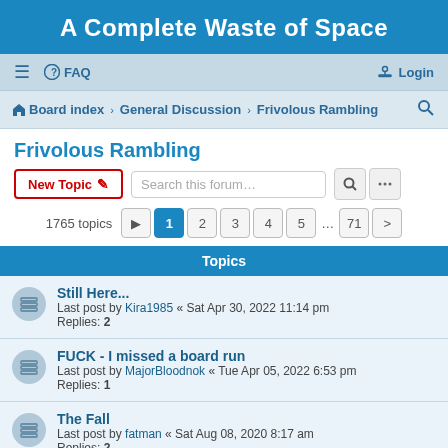A Complete Waste of Space
≡  FAQ  Login
Board index › General Discussion › Frivolous Rambling
Frivolous Rambling
New Topic  Search this forum…
1765 topics  1 2 3 4 5 … 71 ›
Topics
Still Here...
Last post by Kira1985 « Sat Apr 30, 2022 11:14 pm
Replies: 2
FUCK - I missed a board run
Last post by MajorBloodnok « Tue Apr 05, 2022 6:53 pm
Replies: 1
The Fall
Last post by fatman « Sat Aug 08, 2020 8:17 am
Replies: 2
Can I get this domain back, now?
Last post by Kira1985 « Fri Oct 25, 2019 9:11 am
Replies: 6